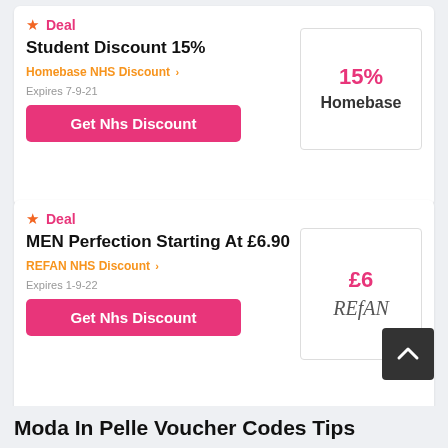★ Deal
Student Discount 15%
Homebase NHS Discount >
Expires 7-9-21
Get Nhs Discount
[Figure (other): Badge showing 15% in pink and Homebase in bold black text]
★ Deal
MEN Perfection Starting At £6.90
REFAN NHS Discount >
Expires 1-9-22
Get Nhs Discount
[Figure (logo): Badge showing £6 in pink and REfAN logo in italic serif text]
Moda In Pelle Voucher Codes Tips